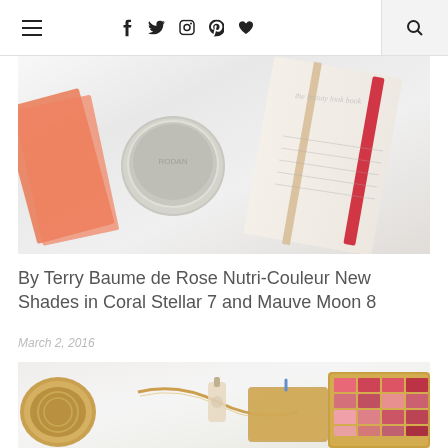Navigation header with hamburger menu, social icons (f, twitter, instagram, pinterest, heart), and search
[Figure (photo): Flat lay photo of beauty products including a round compact/powder, open book, and other cosmetic items on white marble surface. Text 'the beauty look book' visible.]
By Terry Baume de Rose Nutri-Couleur New Shades in Coral Stellar 7 and Mauve Moon 8
March 2, 2016
[Figure (photo): Flat lay photo of makeup palette with red and pink lip color shades in gold case, gold chain bracelet, small perfume bottle, and golden clutch bag on white marble surface.]